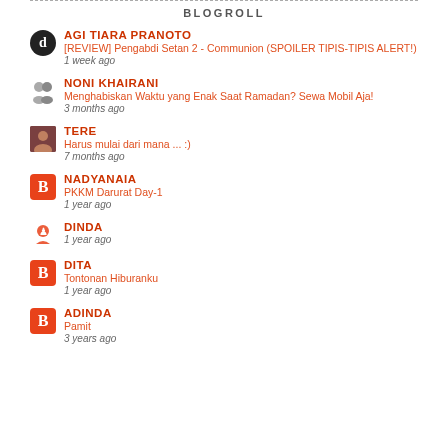BLOGROLL
AGI TIARA PRANOTO
[REVIEW] Pengabdi Setan 2 - Communion (SPOILER TIPIS-TIPIS ALERT!)
1 week ago
NONI KHAIRANI
Menghabiskan Waktu yang Enak Saat Ramadan? Sewa Mobil Aja!
3 months ago
TERE
Harus mulai dari mana ... :)
7 months ago
NADYANAIA
PKKM Darurat Day-1
1 year ago
DINDA
1 year ago
DITA
Tontonan Hiburanku
1 year ago
ADINDA
Pamit
3 years ago